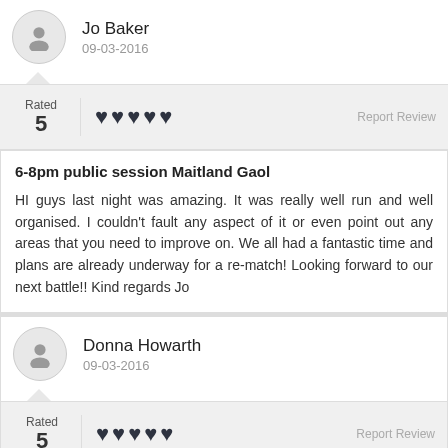Jo Baker
09-03-2016
Rated 5
♥♥♥♥♥
Report Review
6-8pm public session Maitland Gaol
HI guys last night was amazing. It was really well run and well organised. I couldn't fault any aspect of it or even point out any areas that you need to improve on. We all had a fantastic time and plans are already underway for a re-match! Looking forward to our next battle!! Kind regards Jo
Donna Howarth
09-03-2016
Rated 5
♥♥♥♥♥
Report Review